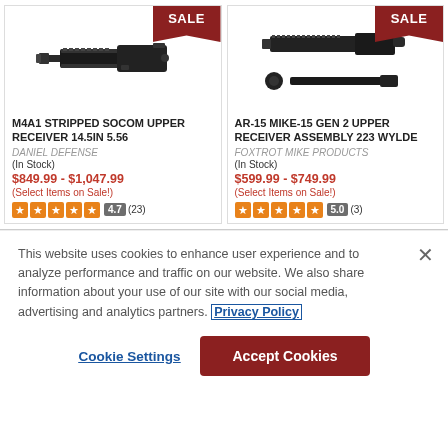[Figure (photo): M4A1 Stripped SOCOM Upper Receiver 14.5in 5.56 product image with SALE banner]
M4A1 STRIPPED SOCOM UPPER RECEIVER 14.5IN 5.56
DANIEL DEFENSE
(In Stock)
$849.99 - $1,047.99
(Select Items on Sale!)
4.7 (23)
[Figure (photo): AR-15 Mike-15 Gen 2 Upper Receiver Assembly 223 Wylde product image with SALE banner]
AR-15 MIKE-15 GEN 2 UPPER RECEIVER ASSEMBLY 223 WYLDE
FOXTROT MIKE PRODUCTS
(In Stock)
$599.99 - $749.99
(Select Items on Sale!)
5.0 (3)
This website uses cookies to enhance user experience and to analyze performance and traffic on our website. We also share information about your use of our site with our social media, advertising and analytics partners. Privacy Policy
Cookie Settings
Accept Cookies